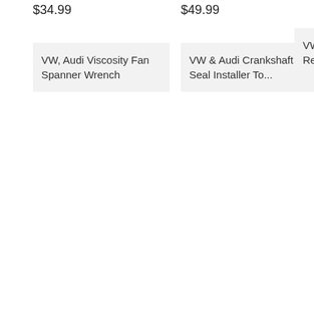$34.99
VW, Audi Viscosity Fan Spanner Wrench
$49.99
VW & Audi Crankshaft Seal Installer To...
VW, Audi Release...